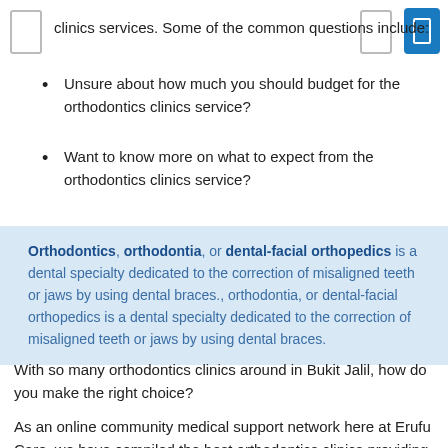clinics services. Some of the common questions include:
Unsure about how much you should budget for the orthodontics clinics service?
Want to know more on what to expect from the orthodontics clinics service?
Orthodontics, orthodontia, or dental-facial orthopedics is a dental specialty dedicated to the correction of misaligned teeth or jaws by using dental braces., orthodontia, or dental-facial orthopedics is a dental specialty dedicated to the correction of misaligned teeth or jaws by using dental braces.
With so many orthodontics clinics around in Bukit Jalil, how do you make the right choice?
As an online community medical support network here at Erufu Care, we have compiled the best orthodontics clinics providing